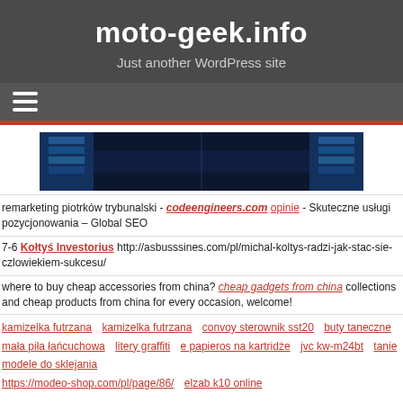moto-geek.info
Just another WordPress site
[Figure (screenshot): Hamburger menu icon (three white horizontal lines) on dark gray background]
[Figure (photo): Server room / data center corridor with blue lighting]
remarketing piotrków trybunalski - codeengineers.com opinie - Skuteczne usługi pozycjonowania – Global SEO
7-6 Kołtyś Investorius http://asbusssines.com/pl/michal-koltys-radzi-jak-stac-sie-czlowiekiem-sukcesu/
where to buy cheap accessories from china? cheap gadgets from china collections and cheap products from china for every occasion, welcome!
kamizelka futrzana
kamizelka futrzana
convoy sterownik sst20
buty taneczne
mała piła łańcuchowa
litery graffiti
e papieros na kartridże
jvc kw-m24bt
tanie modele do sklejania
https://modeo-shop.com/pl/page/86/
elzab k10 online